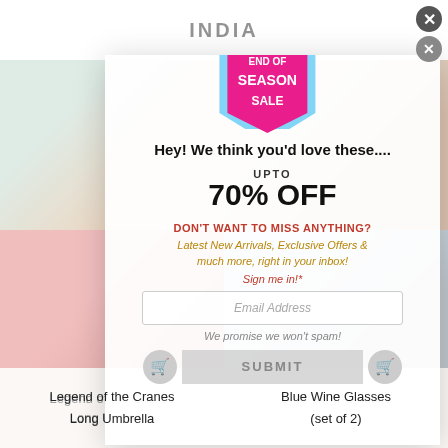INDIA
[Figure (photo): Background website with 4 product images: decorative lamp, nesting tables, crane umbrella, blue wine glasses]
[Figure (infographic): End of Season Sale hexagon badge in pink with 'END OF SEASON SALE' text]
Hey! We think you'd love these....
UPTO
70% OFF
DON'T WANT TO MISS ANYTHING?
Latest New Arrivals, Exclusive Offers & much more, right in your inbox!
Sign me in!*
Email Address
We promise we won't spam!
SUBMIT
Legend of the Cranes
Long Umbrella
Blue Wine Glasses
(set of 2)